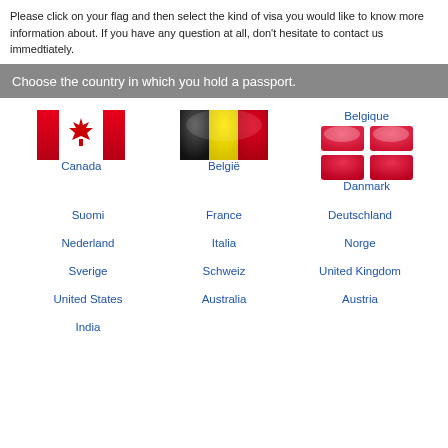Please click on your flag and then select the kind of visa you would like to know more information about. If you have any question at all, don't hesitate to contact us immedtiately.
Choose the country in which you hold a passport.
[Figure (illustration): Canadian flag icon - red and white with maple leaf]
Canada
[Figure (illustration): Belgian flag icon - black, yellow, red vertical stripes]
België
Belgique
[Figure (illustration): Denmark flag icon - red with white cross, shown as 4 quadrants]
Danmark
Suomi
France
Deutschland
Nederland
Italia
Norge
Sverige
Schweiz
United Kingdom
United States
Australia
Austria
India